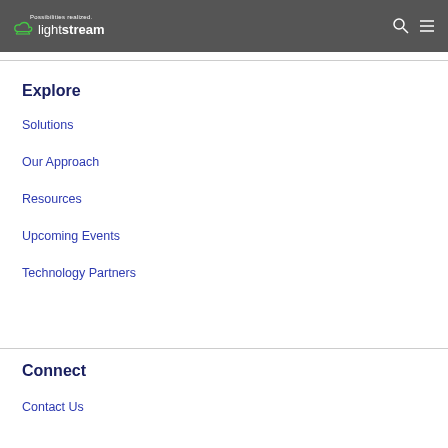Possibilities realized. lightstream
Explore
Solutions
Our Approach
Resources
Upcoming Events
Technology Partners
Connect
Contact Us